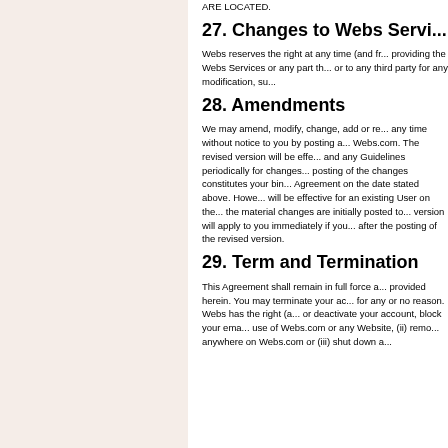ARE LOCATED.
27. Changes to Webs Servi...
Webs reserves the right at any time (and fr... providing the Webs Services or any part th... or to any third party for any modification, su...
28. Amendments
We may amend, modify, change, add or re... any time without notice to you by posting a... Webs.com. The revised version will be effe... and any Guidelines periodically for changes... posting of the changes constitutes your bin... Agreement on the date stated above. Howe... will be effective for an existing User on the... the material changes are initially posted to... version will apply to you immediately if you... after the posting of the revised version.
29. Term and Termination
This Agreement shall remain in full force a... provided herein. You may terminate your ac... for any or no reason. Webs has the right (a... or deactivate your account, block your ema... use of Webs.com or any Website, (ii) remo... anywhere on Webs.com or (iii) shut down a...